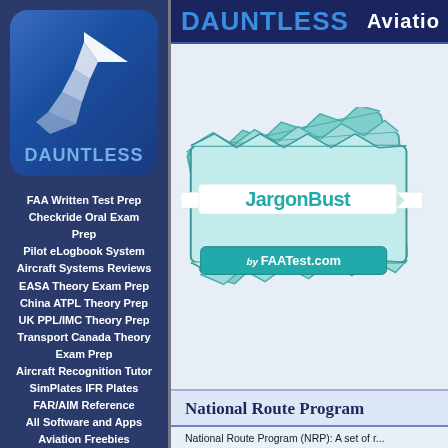[Figure (logo): Dauntless Aviation logo: blue rounded square with white wing/chevron graphic and 'DAUNTLESS' text in blue]
FAA Written Test Prep
Checkride Oral Exam Prep
Pilot eLogbook System
Aircraft Systems Reviews
EASA Theory Exam Prep
China ATPL Theory Prep
UK PPL/IMC Theory Prep
Transport Canada Theory Exam Prep
Aircraft Recognition Tutor
SimPlates IFR Plates
FAR/AIM Reference
All Software and Apps
Aviation Freebies
DAUNTLESS   Aviatio
[Figure (illustration): JargonBuster by FAATest.com — teal/mint colored stacked books or cards with a ribbon banner saying 'JargonBuster' and a sub-banner 'by FAATest.com']
National Route Program
National Route Program (NRP): A set of r...